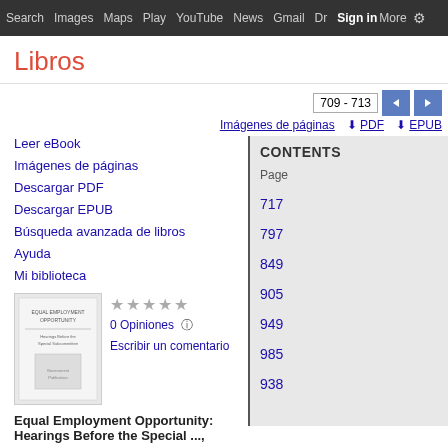Search  Images  Maps  Play  YouTube  News  Gmail  Drive  More  Sign in  ⚙
Libros
709 - 713
Imágenes de páginas  PDF  EPUB
Leer eBook
Imágenes de páginas
Descargar PDF
Descargar EPUB
Búsqueda avanzada de libros
Ayuda
Mi biblioteca
[Figure (illustration): Small book thumbnail cover image]
★★★★★  0 Opiniones  ⓘ  Escribir un comentario
Equal Employment Opportunity: Hearings Before the Special ...,
CONTENTS
Page
717
797
849
905
949
985
938